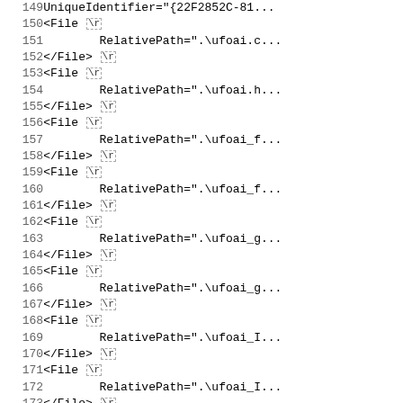Code listing lines 149-180, XML/project file source code
149  UniqueIdentifier="{22F2852C-81...
150  <File \r
151      RelativePath=".\ufoai.c...
152  </File> \r
153  <File \r
154      RelativePath=".\ufoai.h...
155  </File> \r
156  <File \r
157      RelativePath=".\ufoai_f...
158  </File> \r
159  <File \r
160      RelativePath=".\ufoai_f...
161  </File> \r
162  <File \r
163      RelativePath=".\ufoai_g...
164  </File> \r
165  <File \r
166      RelativePath=".\ufoai_g...
167  </File> \r
168  <File \r
169      RelativePath=".\ufoai_I...
170  </File> \r
171  <File \r
172      RelativePath=".\ufoai_I...
173  </File> \r
174  </Filter> \r
175  <File \r
176      RelativePath=".\ufoai.def"> \r
177      <FileConfiguration \r
178          Name="Debug|Win32"> \r
179          <Tool \r
180              Name="VCCustomB...